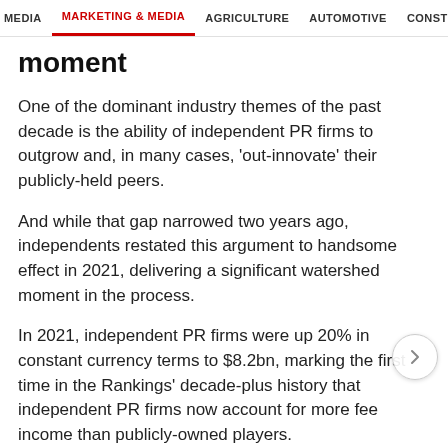MEDIA   MARKETING & MEDIA   AGRICULTURE   AUTOMOTIVE   CONSTRU
moment
One of the dominant industry themes of the past decade is the ability of independent PR firms to outgrow and, in many cases, 'out-innovate' their publicly-held peers.
And while that gap narrowed two years ago, independents restated this argument to handsome effect in 2021, delivering a significant watershed moment in the process.
In 2021, independent PR firms were up 20% in constant currency terms to $8.2bn, marking the first time in the Rankings' decade-plus history that independent PR firms now account for more fee income than publicly-owned players.